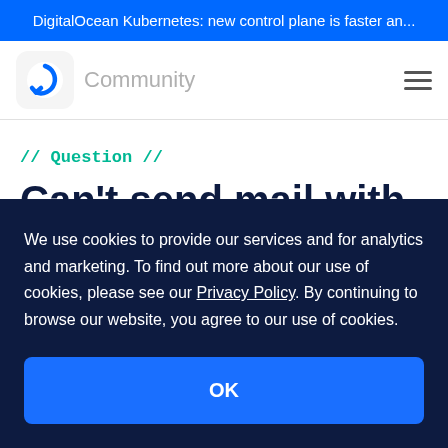DigitalOcean Kubernetes: new control plane is faster an...
[Figure (logo): DigitalOcean Community logo with circular arrow icon and 'Community' text, hamburger menu icon on right]
// Question //
Can't send mail with Postfix
We use cookies to provide our services and for analytics and marketing. To find out more about our use of cookies, please see our Privacy Policy. By continuing to browse our website, you agree to our use of cookies.
OK